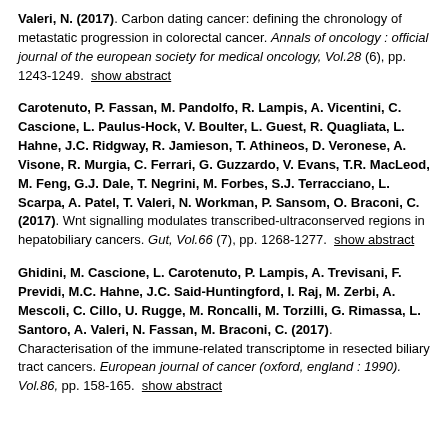Valeri, N. (2017). Carbon dating cancer: defining the chronology of metastatic progression in colorectal cancer. Annals of oncology : official journal of the european society for medical oncology, Vol.28 (6), pp. 1243-1249.  show abstract
Carotenuto, P. Fassan, M. Pandolfo, R. Lampis, A. Vicentini, C. Cascione, L. Paulus-Hock, V. Boulter, L. Guest, R. Quagliata, L. Hahne, J.C. Ridgway, R. Jamieson, T. Athineos, D. Veronese, A. Visone, R. Murgia, C. Ferrari, G. Guzzardo, V. Evans, T.R. MacLeod, M. Feng, G.J. Dale, T. Negrini, M. Forbes, S.J. Terracciano, L. Scarpa, A. Patel, T. Valeri, N. Workman, P. Sansom, O. Braconi, C. (2017). Wnt signalling modulates transcribed-ultraconserved regions in hepatobiliary cancers. Gut, Vol.66 (7), pp. 1268-1277.  show abstract
Ghidini, M. Cascione, L. Carotenuto, P. Lampis, A. Trevisani, F. Previdi, M.C. Hahne, J.C. Said-Huntingford, I. Raj, M. Zerbi, A. Mescoli, C. Cillo, U. Rugge, M. Roncalli, M. Torzilli, G. Rimassa, L. Santoro, A. Valeri, N. Fassan, M. Braconi, C. (2017). Characterisation of the immune-related transcriptome in resected biliary tract cancers. European journal of cancer (oxford, england : 1990). Vol.86, pp. 158-165.  show abstract